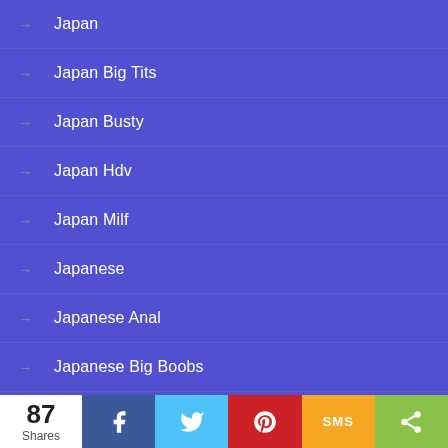Japan
Japan Big Tits
Japan Busty
Japan Hdv
Japan Milf
Japanese
Japanese Anal
Japanese Big Boobs
Japanese Big Tits
87 Shares | Facebook | Twitter | Pinterest | SMS | Share